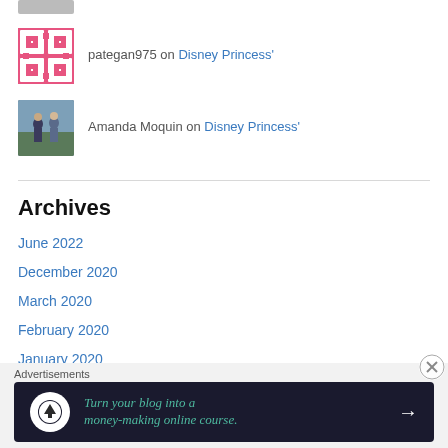[Figure (photo): Avatar thumbnail image at top (partially visible)]
[Figure (illustration): Pink/white quilt pattern avatar for user pategan975]
pategan975 on Disney Princess'
[Figure (photo): Photo avatar of Amanda Moquin - couple standing outdoors]
Amanda Moquin on Disney Princess'
Archives
June 2022
December 2020
March 2020
February 2020
January 2020
December 2019
November 2019
Advertisements
[Figure (infographic): Dark navy advertisement banner: Turn your blog into a money-making online course. with arrow and tree logo icon]